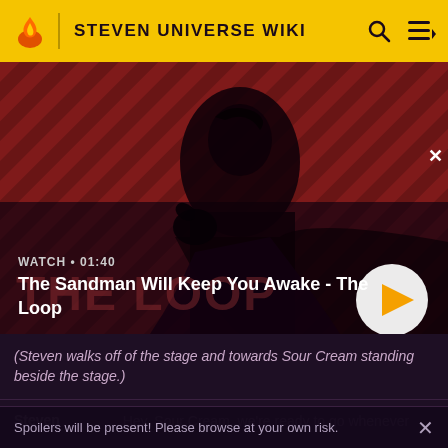STEVEN UNIVERSE WIKI
[Figure (screenshot): Video thumbnail showing a dark-cloaked figure with a crow on shoulder against a red diagonal-striped background. Shows 'WATCH • 01:40' and title 'The Sandman Will Keep You Awake - The Loop' with a play button.]
(Steven walks off of the stage and towards Sour Cream standing beside the stage.)
| Speaker | Dialogue |
| --- | --- |
| Steven | Hey, Sour Cream, we're ready to go whenever |
Spoilers will be present! Please browse at your own risk.